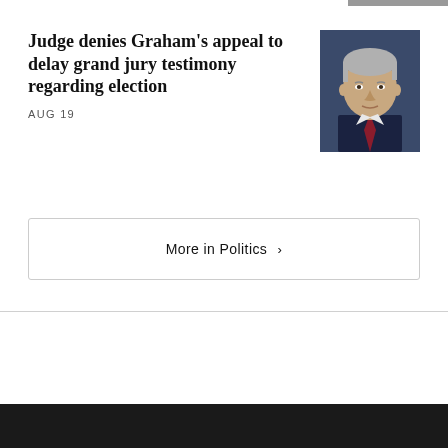[Figure (photo): Partial top strip of a photo at top-right corner]
Judge denies Graham's appeal to delay grand jury testimony regarding election
AUG 19
[Figure (photo): Portrait photo of Lindsey Graham, a gray-haired man in a dark suit with red tie, at a podium or press conference setting]
More in Politics ›